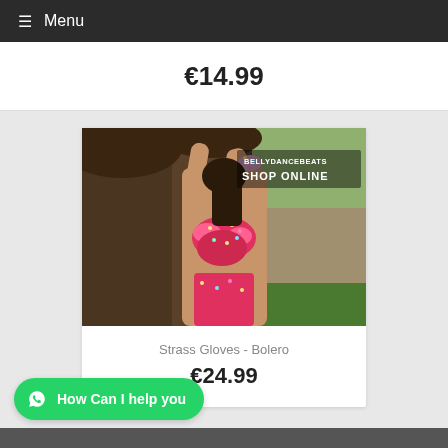≡ Menu
€14.99
[Figure (photo): Belly dancer wearing a pink/red rhinestone-studded costume posing in front of a large tree, with 'BELLYDANCEBEATS SHOP ONLINE' text overlay in upper right corner]
Strass Gloves - Bolero
€24.99
How Can I help you